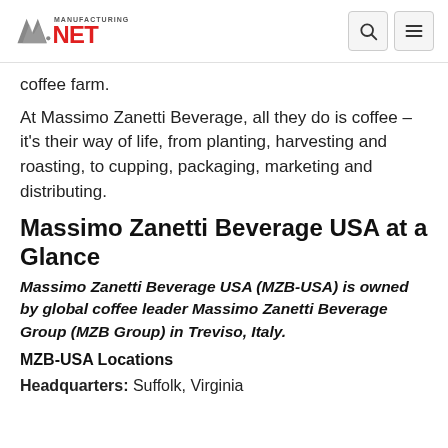Manufacturing.net
coffee farm.
At Massimo Zanetti Beverage, all they do is coffee – it's their way of life, from planting, harvesting and roasting, to cupping, packaging, marketing and distributing.
Massimo Zanetti Beverage USA at a Glance
Massimo Zanetti Beverage USA (MZB-USA) is owned by global coffee leader Massimo Zanetti Beverage Group (MZB Group) in Treviso, Italy.
MZB-USA Locations
Headquarters: Suffolk, Virginia